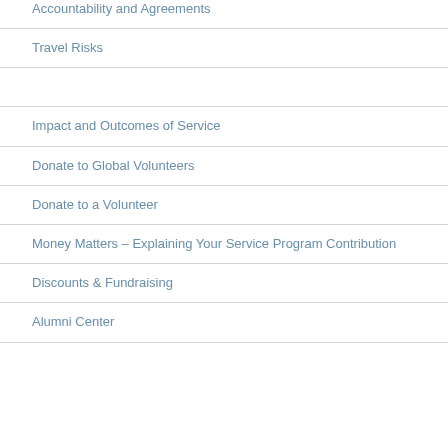Accountability and Agreements
Travel Risks
Impact and Outcomes of Service
Donate to Global Volunteers
Donate to a Volunteer
Money Matters – Explaining Your Service Program Contribution
Discounts & Fundraising
Alumni Center